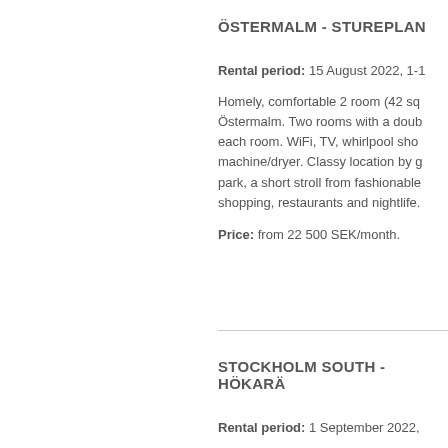ÖSTERMALM - STUREPLAN
Rental period: 15 August 2022, 1-1
Homely, comfortable 2 room (42 sq Östermalm. Two rooms with a doub each room. WiFi, TV, whirlpool sho machine/dryer. Classy location by g park, a short stroll from fashionable shopping, restaurants and nightlife.
Price: from 22 500 SEK/month.
STOCKHOLM SOUTH - HÖKARÄ
Rental period: 1 September 2022,